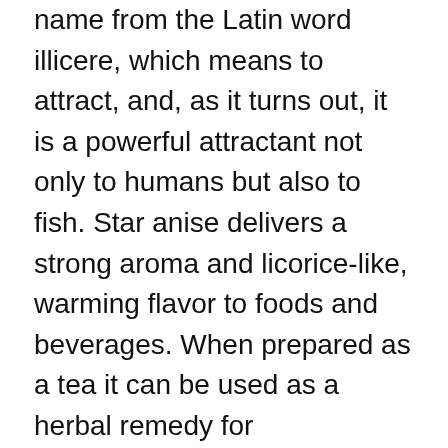name from the Latin word illicere, which means to attract, and, as it turns out, it is a powerful attractant not only to humans but also to fish. Star anise delivers a strong aroma and licorice-like, warming flavor to foods and beverages. When prepared as a tea it can be used as a herbal remedy for rheumatism,digestive tract problems (upset stomach and gas) & respiratorytract infections (cough, bronchitis, the flu and swine flu). Like anise seeds, star anise gets its distinctive licorice taste from a chemical compound called anethol. It is used mainly to add flavor to cordials and liqueurs. Answer. Register to join beta. Use in stir-fries or with pork, veal or duck. In the meantime, enjoy the star anise and orange salad dressing! Per Bag, Pack of Six Bags : Rice Noodles : … Be the first to answer! Inspiration and Ideas Star Anise (八角) Star anise or ba jiao (八角) plays a key role in slow-cooked dishes and is also one of the